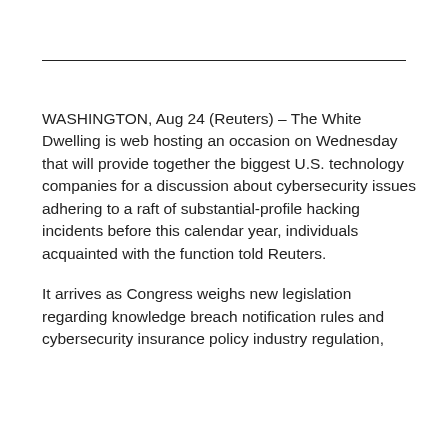WASHINGTON, Aug 24 (Reuters) – The White Dwelling is web hosting an occasion on Wednesday that will provide together the biggest U.S. technology companies for a discussion about cybersecurity issues adhering to a raft of substantial-profile hacking incidents before this calendar year, individuals acquainted with the function told Reuters.
It arrives as Congress weighs new legislation regarding knowledge breach notification rules and cybersecurity insurance policy industry regulation,